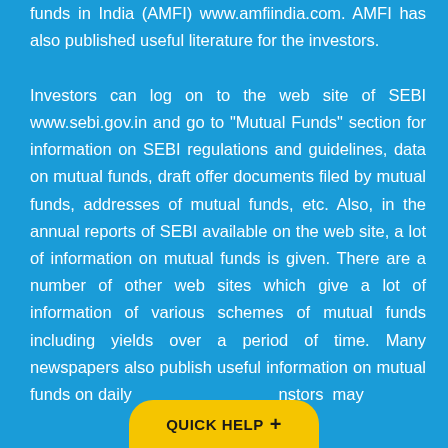funds in India (AMFI) www.amfiindia.com. AMFI has also published useful literature for the investors.

Investors can log on to the web site of SEBI www.sebi.gov.in and go to "Mutual Funds" section for information on SEBI regulations and guidelines, data on mutual funds, draft offer documents filed by mutual funds, addresses of mutual funds, etc. Also, in the annual reports of SEBI available on the web site, a lot of information on mutual funds is given. There are a number of other web sites which give a lot of information of various schemes of mutual funds including yields over a period of time. Many newspapers also publish useful information on mutual funds on daily ... investors may
QUICK HELP +